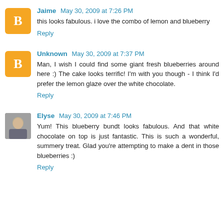Jaime May 30, 2009 at 7:26 PM
this looks fabulous. i love the combo of lemon and blueberry
Reply
Unknown May 30, 2009 at 7:37 PM
Man, I wish I could find some giant fresh blueberries around here :) The cake looks terrific! I'm with you though - I think I'd prefer the lemon glaze over the white chocolate.
Reply
Elyse May 30, 2009 at 7:46 PM
Yum! This blueberry bundt looks fabulous. And that white chocolate on top is just fantastic. This is such a wonderful, summery treat. Glad you're attempting to make a dent in those blueberries :)
Reply